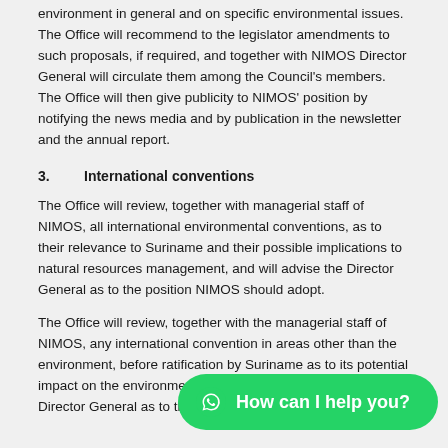environment in general and on specific environmental issues. The Office will recommend to the legislator amendments to such proposals, if required, and together with NIMOS Director General will circulate them among the Council's members. The Office will then give publicity to NIMOS' position by notifying the news media and by publication in the newsletter and the annual report.
3.      International conventions
The Office will review, together with managerial staff of NIMOS, all international environmental conventions, as to their relevance to Suriname and their possible implications to natural resources management, and will advise the Director General as to the position NIMOS should adopt.
The Office will review, together with the managerial staff of NIMOS, any international convention in areas other than the environment, before ratification by Suriname as to its potential impact on the environment in Suriname and advise the Director General as to the position NIMOS should adopt.